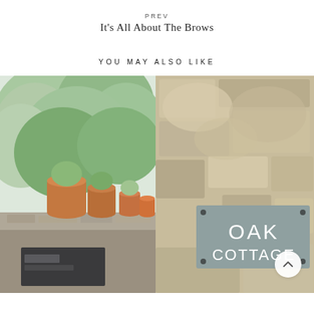PREV
It's All About The Brows
YOU MAY ALSO LIKE
[Figure (photo): Left half: outdoor patio scene with terracotta pots and lush green trees. Right half: stone wall with a grey sign reading OAK COTTAGE in white sans-serif letters. A circular back-to-top button is visible in the lower right.]